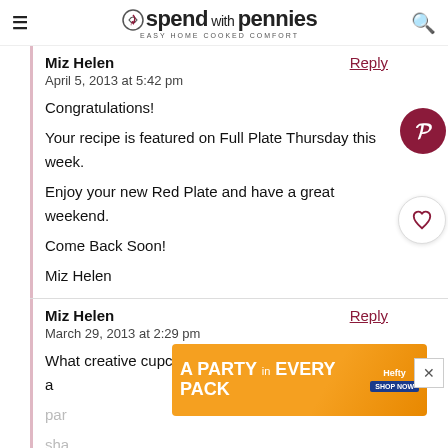spend with pennies — Easy Home Cooked Comfort
Miz Helen
April 5, 2013 at 5:42 pm
Congratulations!
Your recipe is featured on Full Plate Thursday this week.
Enjoy your new Red Plate and have a great weekend.
Come Back Soon!
Miz Helen
Miz Helen
March 29, 2013 at 2:29 pm
What creative cupcakes and very special treats for a party...or sharing...and have a great weekend!